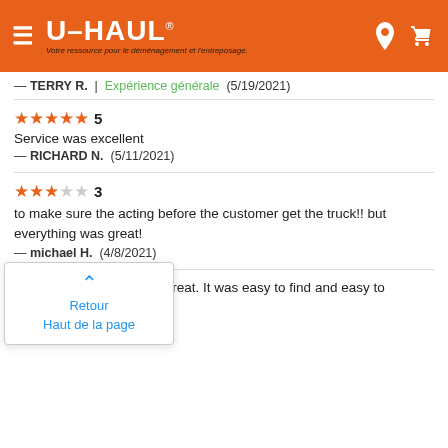U-HAUL — Votre ressource pour le déménagement et l'entreposage.
— TERRY R. | Expérience générale (5/19/2021)
5 stars — Service was excellent
— RICHARD N. (5/11/2021)
3 stars — to make sure the acting before the customer get the truck!! but everything was great!
— michael H. (4/8/2021)
ation was great. It was easy to find and easy to
— tyler A. (3/30/2021)
[Figure (other): Popup overlay with up arrow and text 'Retour Haut de la page' in blue]